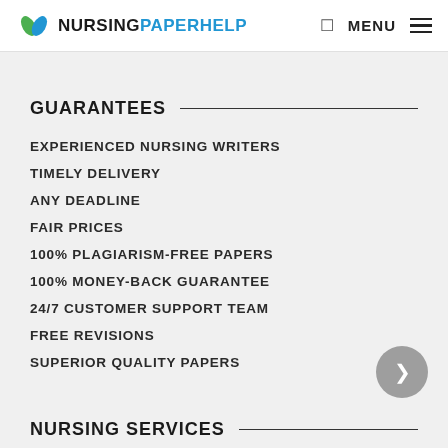NURSINGPAPERHELP — MENU
GUARANTEES
EXPERIENCED NURSING WRITERS
TIMELY DELIVERY
ANY DEADLINE
FAIR PRICES
100% PLAGIARISM-FREE PAPERS
100% MONEY-BACK GUARANTEE
24/7 CUSTOMER SUPPORT TEAM
FREE REVISIONS
SUPERIOR QUALITY PAPERS
NURSING SERVICES